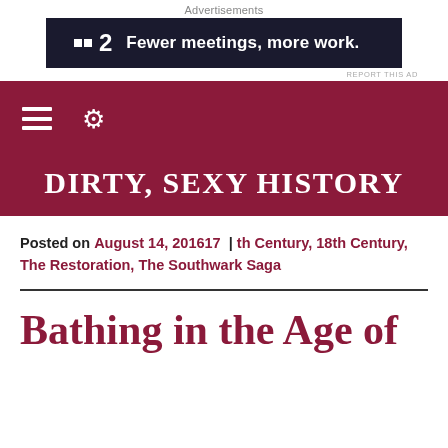Advertisements
[Figure (infographic): Advertisement banner: logo with two squares and number 2, text 'Fewer meetings, more work.' on dark navy background]
[Figure (screenshot): Navigation bar with hamburger menu icon and gear/settings icon on dark red/maroon background]
DIRTY, SEXY HISTORY
Posted on August 14, 201617 | th Century, 18th Century, The Restoration, The Southwark Saga
Bathing in the Age of